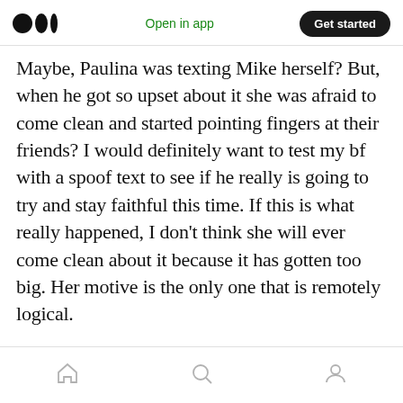Medium logo | Open in app | Get started
Maybe, Paulina was texting Mike herself? But, when he got so upset about it she was afraid to come clean and started pointing fingers at their friends? I would definitely want to test my bf with a spoof text to see if he really is going to try and stay faithful this time. If this is what really happened, I don't think she will ever come clean about it because it has gotten too big. Her motive is the only one that is remotely logical.

MOTIVE: Seeing if her bf is going to not suck anymore.
Home | Search | Profile